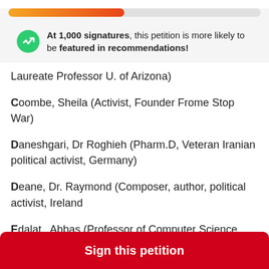[Figure (infographic): Progress bar showing petition signature progress, gradient from orange to red, approximately 46% filled]
At 1,000 signatures, this petition is more likely to be featured in recommendations!
Laureate Professor U. of Arizona)
Coombe, Sheila (Activist, Founder Frome Stop War)
Daneshgari, Dr Roghieh (Pharm.D, Veteran Iranian political activist, Germany)
Deane, Dr. Raymond (Composer, author, political activist, Ireland
Edalat,  Abbas (Professor of Computer Science and Mathematics, Imperial College, London, Founder of CASMII)
Sign this petition